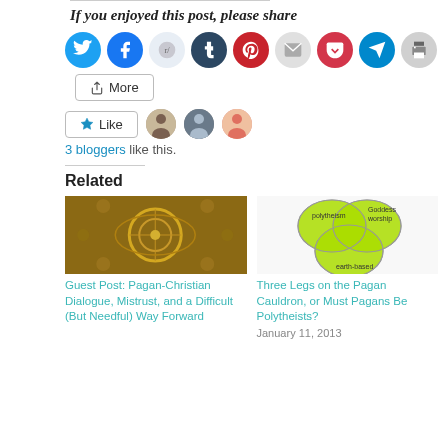If you enjoyed this post, please share
[Figure (infographic): Row of social media share buttons: Twitter (blue), Facebook (blue), Reddit (light blue), Tumblr (dark blue), Pinterest (red), Email (grey), Pocket (red), Telegram (blue), Print (grey)]
[Figure (infographic): More button with share icon]
[Figure (infographic): Like button with star icon and three blogger avatars]
3 bloggers like this.
Related
[Figure (photo): Ornate ceiling of what appears to be a historical building, decorated with circular medallions and golden architectural details, viewed from below]
Guest Post: Pagan-Christian Dialogue, Mistrust, and a Difficult (But Needful) Way Forward
[Figure (infographic): Venn diagram with three overlapping circles labeled polytheism, Goddess worship, and earth-based, with overlapping areas shown in green]
Three Legs on the Pagan Cauldron, or Must Pagans Be Polytheists?
January 11, 2013